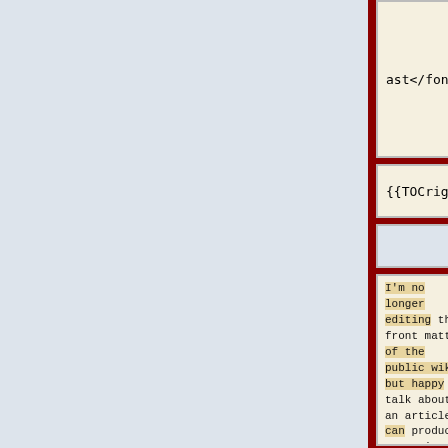ast</font>]]
wiki last</font>]]
{{TOCright}}
{{TOCright}}
I'm no longer editing the front matter of the public wikis but happy to talk about an article, can produce a version of one here. This talk page will be write
All authenticated users have write access to most talk pages here, but not this one. Considering a wiki instance for each proper geonode with write access to front